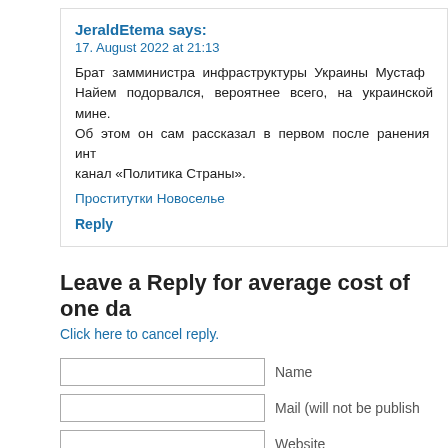JeraldEtema says:
17. August 2022 at 21:13
Брат замминистра инфраструктуры Украины Мустаф Найем подорвался, вероятнее всего, на украинской мине. Об этом он сам рассказал в первом после ранения инт канал «Политика Страны».
Проститутки Новоселье
Reply
Leave a Reply for average cost of one da
Click here to cancel reply.
Name
Mail (will not be publish
Website